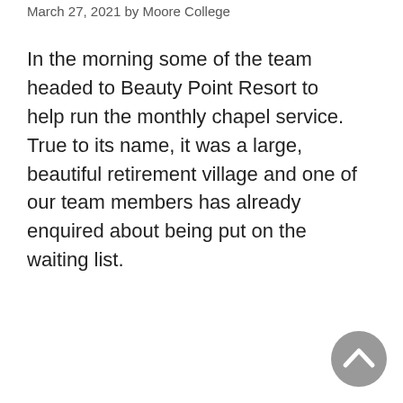March 27, 2021 by Moore College
In the morning some of the team headed to Beauty Point Resort to help run the monthly chapel service. True to its name, it was a large, beautiful retirement village and one of our team members has already enquired about being put on the waiting list.